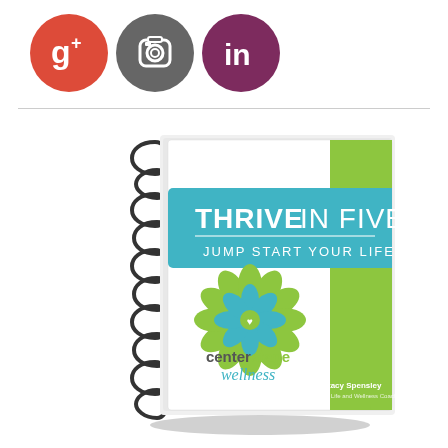[Figure (illustration): Three social media icons in circles: Google+ (red), Instagram (grey), LinkedIn (dark purple)]
[Figure (illustration): Spiral-bound book titled 'THRIVE IN FIVE - JUMP START YOUR LIFE' with centerstage wellness logo and author Stacy Spensley. Book has white cover with green spine stripe and teal banner.]